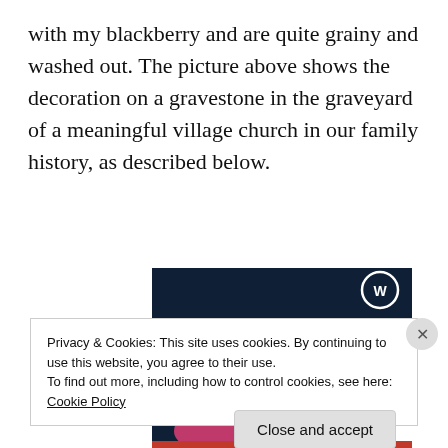with my blackberry and are quite grainy and washed out. The picture above shows the decoration on a gravestone in the graveyard of a meaningful village church in our family history, as described below.
[Figure (screenshot): Dark navy blue advertisement banner with WordPress logo in top right corner. Text reads 'Opinions. We all have them!' in white serif font. Pink/red button partially visible at bottom.]
Privacy & Cookies: This site uses cookies. By continuing to use this website, you agree to their use. To find out more, including how to control cookies, see here: Cookie Policy
Close and accept